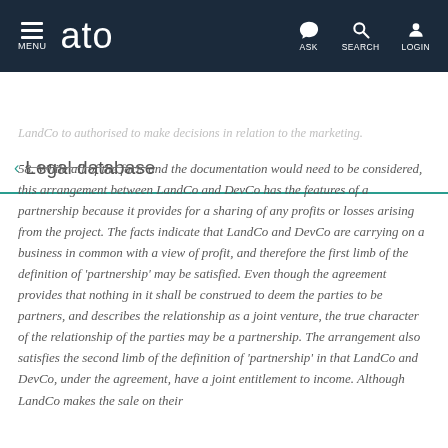MENU | ato | ASK | SEARCH | LOGIN
← Legal database
LandCo to authorised to make decisions in relation to the marketing.
58. While all of the facts and the documentation would need to be considered, this arrangement between LandCo and DevCo has the features of a partnership because it provides for a sharing of any profits or losses arising from the project. The facts indicate that LandCo and DevCo are carrying on a business in common with a view of profit, and therefore the first limb of the definition of 'partnership' may be satisfied. Even though the agreement provides that nothing in it shall be construed to deem the parties to be partners, and describes the relationship as a joint venture, the true character of the relationship of the parties may be a partnership. The arrangement also satisfies the second limb of the definition of 'partnership' in that LandCo and DevCo, under the agreement, have a joint entitlement to income. Although LandCo makes the sale on their